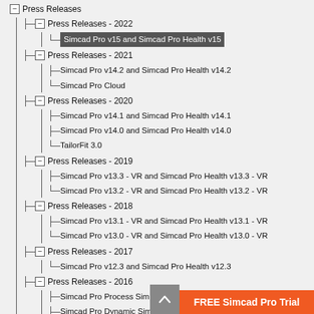Press Releases
Press Releases - 2022
Simcad Pro v15 and Simcad Pro Health v15 [selected]
Press Releases - 2021
Simcad Pro v14.2 and Simcad Pro Health v14.2
Simcad Pro Cloud
Press Releases - 2020
Simcad Pro v14.1 and Simcad Pro Health v14.1
Simcad Pro v14.0 and Simcad Pro Health v14.0
TailorFit 3.0
Press Releases - 2019
Simcad Pro v13.3 - VR and Simcad Pro Health v13.3 - VR
Simcad Pro v13.2 - VR and Simcad Pro Health v13.2 - VR
Press Releases - 2018
Simcad Pro v13.1 - VR and Simcad Pro Health v13.1 - VR
Simcad Pro v13.0 - VR and Simcad Pro Health v13.0 - VR
Press Releases - 2017
Simcad Pro v12.3 and Simcad Pro Health v12.3
Press Releases - 2016
Simcad Pro Process Simulator 12.2
Simcad Pro Dynamic Simulation Software v12.1
Simcad Pro Dynamic Simulation Software v12 [partial]
Press Releases - 2015
Simcad Process Simul... [partial]
FREE Simcad Pro Trial